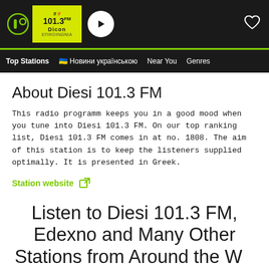[Figure (screenshot): App top bar with logo, Diesi 101.3 FM station badge, play button, and heart icon on dark background]
Top Stations  🇺🇦 Новини українською  Near You  Genres
About Diesi 101.3 FM
This radio programm keeps you in a good mood when you tune into Diesi 101.3 FM. On our top ranking list, Diesi 101.3 FM comes in at no. 1808. The aim of this station is to keep the listeners supplied optimally. It is presented in Greek.
Station website ↗
Listen to Diesi 101.3 FM, Edexno and Many Other Stations from Around the World with the online...A